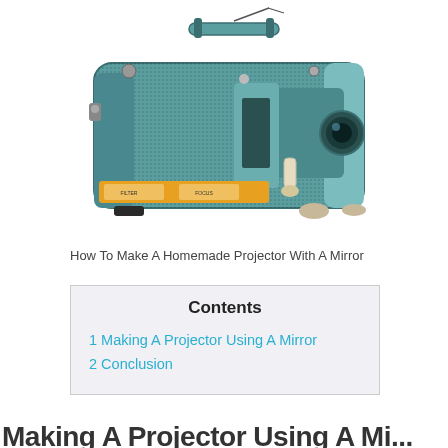[Figure (photo): A vintage teal/blue film projector photographed on a white background, showing mechanical components including a lens, film gates, controls with orange indicators, and a carrying handle on top.]
How To Make A Homemade Projector With A Mirror
| Contents |
| --- |
| 1 Making A Projector Using A Mirror |
| 2 Conclusion |
Making A Projector Using A Mi...